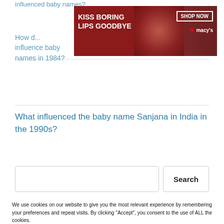influenced baby names?
[Figure (advertisement): Macy's cosmetics ad: 'KISS BORING LIPS GOODBYE' with SHOP NOW button and Macy's star logo, red background with woman's lips photo]
How did... influence baby names in 1984?
What influenced the baby name Sanjana in India in the 1990s?
Search
We use cookies on our website to give you the most relevant experience by remembering your preferences and repeat visits. By clicking “Accept”, you consent to the use of ALL the cookies.
Do not sell my personal information.
CLOSE
[Figure (advertisement): ULTA beauty ad strip showing makeup photos and SHOP NOW text]